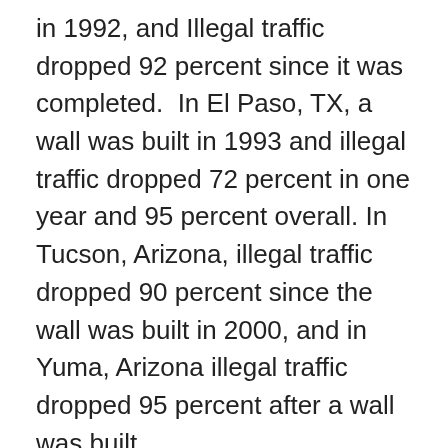in 1992, and Illegal traffic dropped 92 percent since it was completed.  In El Paso, TX, a wall was built in 1993 and illegal traffic dropped 72 percent in one year and 95 percent overall. In Tucson, Arizona, illegal traffic dropped 90 percent since the wall was built in 2000, and in Yuma, Arizona illegal traffic dropped 95 percent after a wall was built.
“Building the wall saves lives as it deters the kind of caravans we are seeing today, fueled by shady promoters who prey on human suffering in an attempt to score political points. It is not compassion telling migrants to